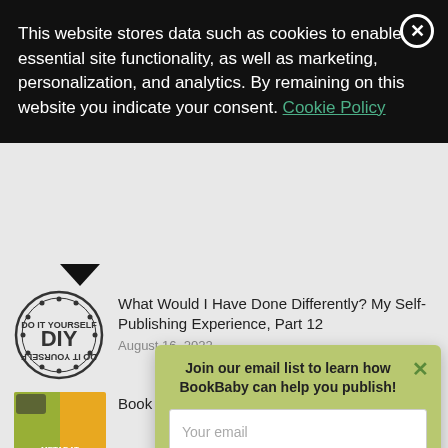This website stores data such as cookies to enable essential site functionality, as well as marketing, personalization, and analytics. By remaining on this website you indicate your consent. Cookie Policy
[Figure (screenshot): DIY (Do It Yourself) stamp logo badge in circular design]
What Would I Have Done Differently? My Self-Publishing Experience, Part 12
August 16, 2022
[Figure (photo): Book cover thumbnail for 'Book Metadata: What The Heck Is That?' with orange and green design]
Book Metadata: What The Heck Is That?
[Figure (photo): Keyboard with keys image thumbnail]
our
Join our email list to learn how BookBaby can help you publish!
Your email
Sign Me Up